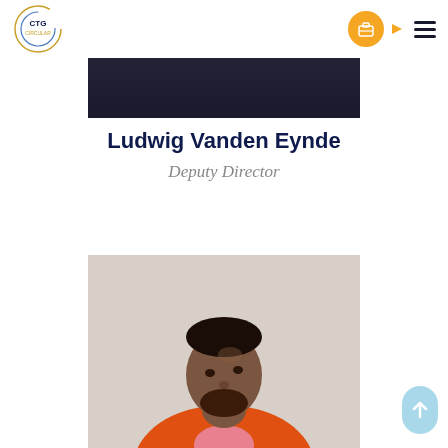CTG Circular
[Figure (photo): Partial photo of a person wearing a dark navy top, cropped at the upper body, against a dark background]
Ludwig Vanden Eynde
Deputy Director
[Figure (photo): Portrait photo of a man with short hair and beard, wearing an orange and pink shirt, looking upward, against a light gray background]